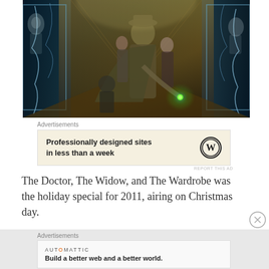[Figure (photo): Promotional image for Doctor Who special 'The Doctor, The Widow, and The Wardrobe' showing multiple characters including The Doctor in a hat and long coat with a glowing green device, flanked by other characters, with ghostly/alien figures visible through glowing windows on either side.]
Advertisements
[Figure (other): Advertisement banner with beige background showing text 'Professionally designed sites in less than a week' with WordPress logo on the right.]
REPORT THIS AD
The Doctor, The Widow, and The Wardrobe was the holiday special for 2011, airing on Christmas day.
Advertisements
[Figure (other): Advertisement banner with AUTOMATTIC logo and text 'Build a better web and a better world.']
REPORT THIS AD